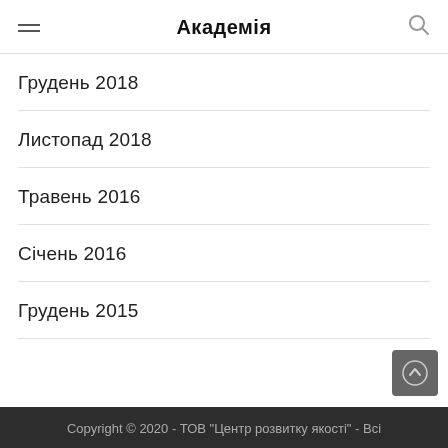Академія
Грудень 2018
Листопад 2018
Травень 2016
Січень 2016
Грудень 2015
Copyright © 2020 - ТОВ "Центр розвитку якості" - Всі